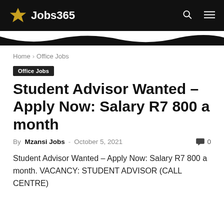Jobs365
Home › Office Jobs
Office Jobs
Student Advisor Wanted – Apply Now: Salary R7 800 a month
By Mzansi Jobs - October 5, 2021   💬 0
Student Advisor Wanted – Apply Now: Salary R7 800 a month. VACANCY: STUDENT ADVISOR (CALL CENTRE)